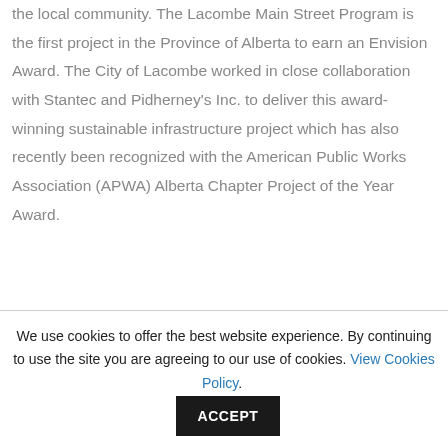the local community. The Lacombe Main Street Program is the first project in the Province of Alberta to earn an Envision Award. The City of Lacombe worked in close collaboration with Stantec and Pidherney's Inc. to deliver this award-winning sustainable infrastructure project which has also recently been recognized with the American Public Works Association (APWA) Alberta Chapter Project of the Year Award.
We use cookies to offer the best website experience. By continuing to use the site you are agreeing to our use of cookies. View Cookies Policy. ACCEPT